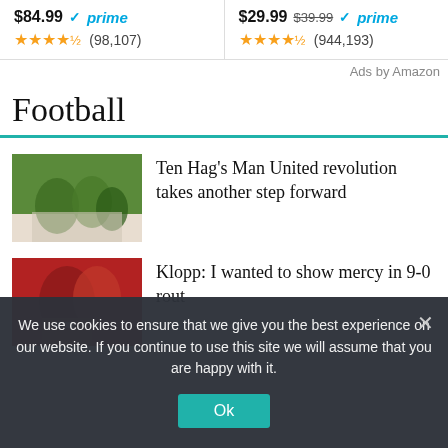$84.99 ✓prime ★★★★½ (98,107)
$29.99 $39.99 ✓prime ★★★★½ (944,193)
Ads by Amazon
Football
[Figure (photo): Football players in green jerseys celebrating on a pitch]
Ten Hag's Man United revolution takes another step forward
[Figure (photo): Football manager and player in red jersey number 9 embracing]
Klopp: I wanted to show mercy in 9-0 rout
We use cookies to ensure that we give you the best experience on our website. If you continue to use this site we will assume that you are happy with it.